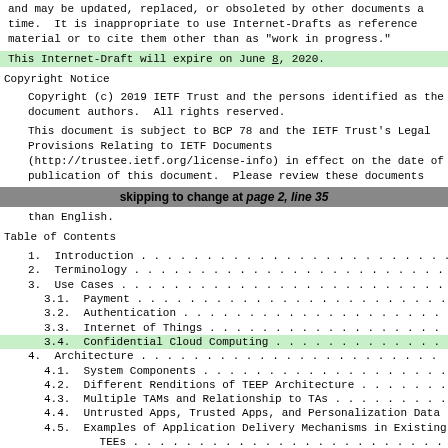and may be updated, replaced, or obsoleted by other documents at any time.  It is inappropriate to use Internet-Drafts as reference material or to cite them other than as "work in progress."
This Internet-Draft will expire on June 8, 2020.
Copyright Notice
Copyright (c) 2019 IETF Trust and the persons identified as the document authors.  All rights reserved.
This document is subject to BCP 78 and the IETF Trust's Legal Provisions Relating to IETF Documents (http://trustee.ietf.org/license-info) in effect on the date of publication of this document.  Please review these documents
skipping to change at page 2, line 35
than English.
Table of Contents
1.  Introduction . . . . . . . . . . . . . . . . . . . . . . . .
2.  Terminology . . . . . . . . . . . . . . . . . . . . . . . .
3.  Use Cases . . . . . . . . . . . . . . . . . . . . . . . . .
3.1.  Payment . . . . . . . . . . . . . . . . . . . . . . . .
3.2.  Authentication . . . . . . . . . . . . . . . . . . . . .
3.3.  Internet of Things . . . . . . . . . . . . . . . . . . .
3.4.  Confidential Cloud Computing . . . . . . . . . . . . . .
4.  Architecture . . . . . . . . . . . . . . . . . . . . . . .
4.1.  System Components . . . . . . . . . . . . . . . . . . .
4.2.  Different Renditions of TEEP Architecture . . . . . . .
4.3.  Multiple TAMs and Relationship to TAs . . . . . . . . .
4.4.  Untrusted Apps, Trusted Apps, and Personalization Data
4.5.  Examples of Application Delivery Mechanisms in Existing TEEs . . . . . . . . . . . . . . . . . . . . . . . . . . .
4.6.  Entity Relations . . . . . . . . . . . . . . . . . . . .
5.  Keys and Certificate Types
5.1.  Trust Anchors in TEE